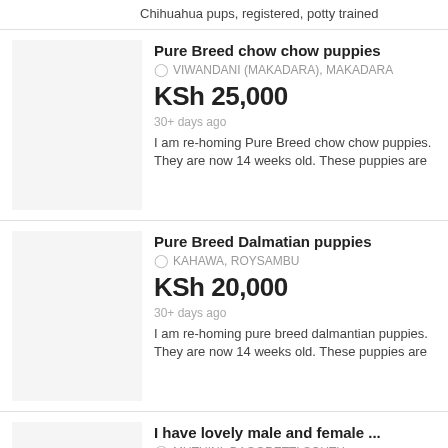Chihuahua pups, registered, potty trained
Pure Breed chow chow puppies
VIWANDANI (MAKADARA), MAKADARA
KSh 25,000
30+ days ago
I am re-homing Pure Breed chow chow puppies. They are now 14 weeks old. These puppies are
Pure Breed Dalmatian puppies
KAHAWA, ROYSAMBU
KSh 20,000
30+ days ago
I am re-homing pure breed dalmantian puppies. They are now 14 weeks old. These puppies are
I have lovely male and female ...
MUTUINI, DAGORETTI SOUTH
KSh 21,000
30+ days ago